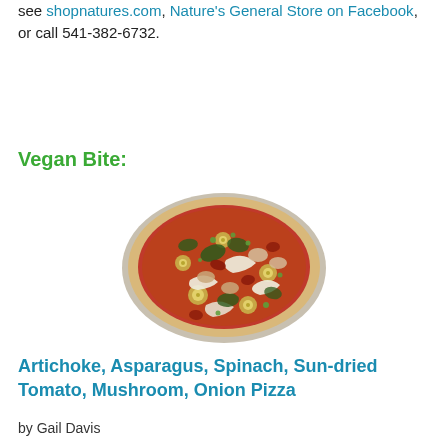see shopnatures.com, Nature's General Store on Facebook, or call 541-382-6732.
Vegan Bite:
[Figure (photo): A vegan pizza topped with artichoke, asparagus, spinach, sun-dried tomato, mushroom, and onion on a round pizza crust with tomato sauce, served on a pizza pan.]
Artichoke, Asparagus, Spinach, Sun-dried Tomato, Mushroom, Onion Pizza
by Gail Davis